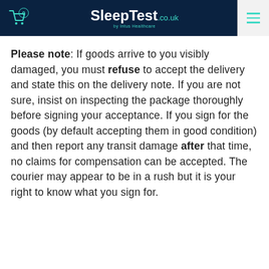SleepTest.co.uk by Intus Healthcare — navigation header with cart icon and hamburger menu
Please note: If goods arrive to you visibly damaged, you must refuse to accept the delivery and state this on the delivery note. If you are not sure, insist on inspecting the package thoroughly before signing your acceptance. If you sign for the goods (by default accepting them in good condition) and then report any transit damage after that time, no claims for compensation can be accepted. The courier may appear to be in a rush but it is your right to know what you sign for.